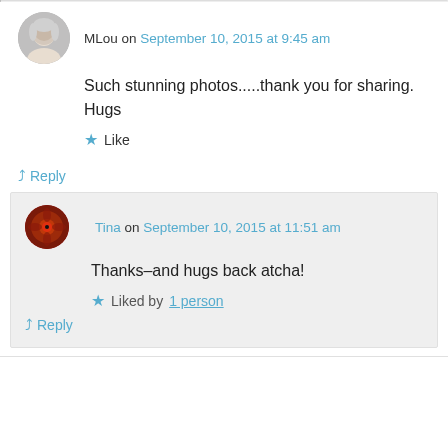MLou on September 10, 2015 at 9:45 am
Such stunning photos.....thank you for sharing. Hugs
Like
Reply
Tina on September 10, 2015 at 11:51 am
Thanks–and hugs back atcha!
Liked by 1 person
Reply